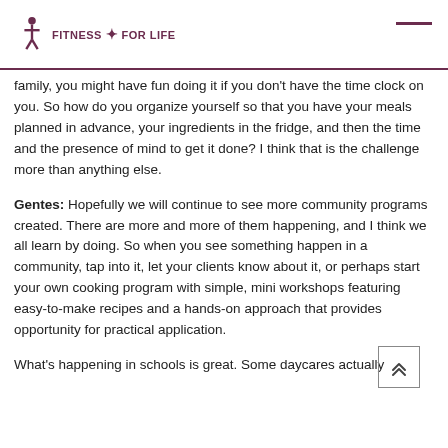FITNESS FOR LIFE
family, you might have fun doing it if you don't have the time clock on you. So how do you organize yourself so that you have your meals planned in advance, your ingredients in the fridge, and then the time and the presence of mind to get it done? I think that is the challenge more than anything else.
Gentes: Hopefully we will continue to see more community programs created. There are more and more of them happening, and I think we all learn by doing. So when you see something happen in a community, tap into it, let your clients know about it, or perhaps start your own cooking program with simple, mini workshops featuring easy-to-make recipes and a hands-on approach that provides opportunity for practical application.
What's happening in schools is great. Some daycares actually